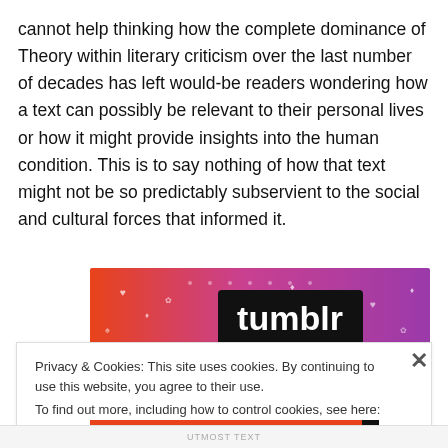cannot help thinking how the complete dominance of Theory within literary criticism over the last number of decades has left would-be readers wondering how a text can possibly be relevant to their personal lives or how it might provide insights into the human condition. This is to say nothing of how that text might not be so predictably subservient to the social and cultural forces that informed it.
[Figure (screenshot): Tumblr banner/logo with colorful background (orange to purple gradient) and white 'tumblr' text in bold on a black rectangle, decorated with small icons and symbols.]
Privacy & Cookies: This site uses cookies. By continuing to use this website, you agree to their use.
To find out more, including how to control cookies, see here: Cookie Policy

Close and accept